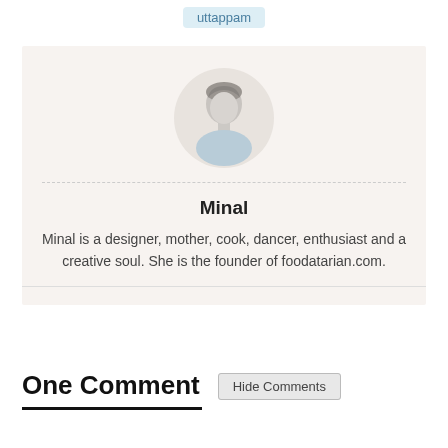uttappam
[Figure (illustration): Generic grey avatar/profile placeholder icon of a person, within a light beige rounded box]
Minal
Minal is a designer, mother, cook, dancer, enthusiast and a creative soul. She is the founder of foodatarian.com.
One Comment
Hide Comments